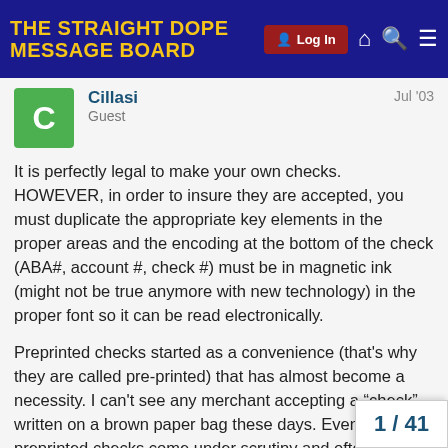THE STRAIGHT DOPE MESSAGE BOARD
Cillasi
Guest
Jul '03
It is perfectly legal to make your own checks. HOWEVER, in order to insure they are accepted, you must duplicate the appropriate key elements in the proper areas and the encoding at the bottom of the check (ABA#, account #, check #) must be in magnetic ink (might not be true anymore with new technology) in the proper font so it can be read electronically.
Preprinted checks started as a convenience (that's why they are called pre-printed) that has almost become a necessity. I can't see any merchant accepting a “check” written on a brown paper bag these days. Even preprinted checks come under scrutiny and often require you to produce numerous other forms of identification in order to have one accepted.
It is to your advantage that, even if you de... own checks that you use “safety paper” wh...
1 / 41